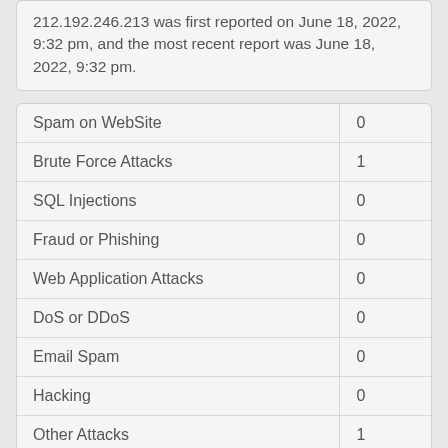212.192.246.213 was first reported on June 18, 2022, 9:32 pm, and the most recent report was June 18, 2022, 9:32 pm.
|  |  |
| --- | --- |
| Spam on WebSite | 0 |
| Brute Force Attacks | 1 |
| SQL Injections | 0 |
| Fraud or Phishing | 0 |
| Web Application Attacks | 0 |
| DoS or DDoS | 0 |
| Email Spam | 0 |
| Hacking | 0 |
| Other Attacks | 1 |